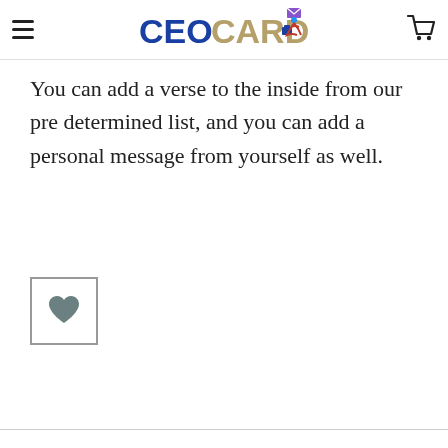CEOCARDS
You can add a verse to the inside from our pre determined list, and you can add a personal message from yourself as well.
[Figure (illustration): A bordered square containing a grey heart icon, representing a wishlist/favourite button.]